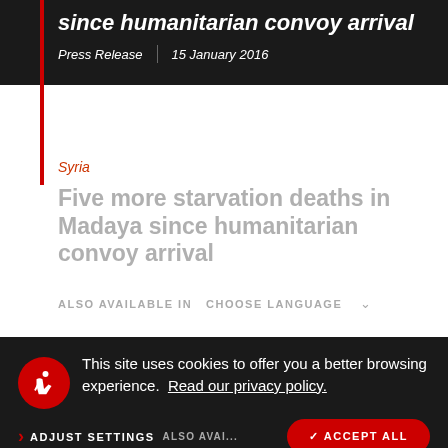Five more starvation deaths in Madaya since humanitarian convoy arrival
Press Release | 15 January 2016
Syria
Five more starvation deaths in Madaya since humanitarian convoy arrival
ALSO AVAILABLE IN   CHOOSE LANGUAGE
This site uses cookies to offer you a better browsing experience.  Read our privacy policy.
ADJUST SETTINGS   ACCEPT ALL